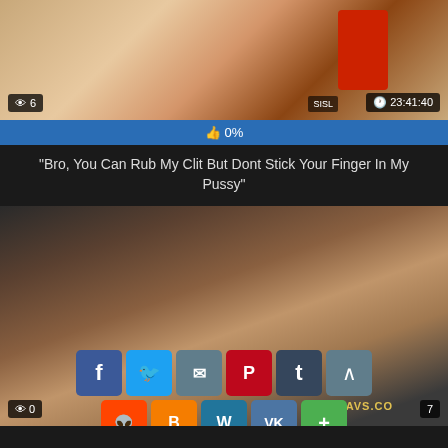[Figure (screenshot): Video thumbnail showing a person in a red skirt, with view count badge '6', duration badge '23:41:40', and site watermark 'SISL']
0%
"Bro, You Can Rub My Clit But Dont Stick Your Finger In My Pussy"
[Figure (screenshot): Video thumbnail of a group scene with social sharing buttons overlay (Facebook, Twitter, Email, Pinterest, Tumblr, up arrow, Reddit, Blogger, WordPress, VK, Plus), view count '0', duration '7', watermark '69AVS.COM']
Intense Group Sex At Work Along Kinky Chris Ozawa